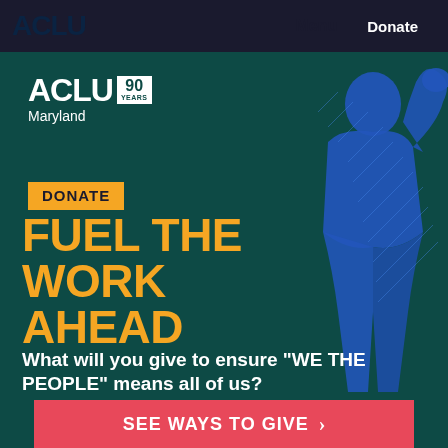ACLU | Menu | Donate
[Figure (logo): ACLU 90 Years Maryland logo — white ACLU text with a white box showing '90 YEARS' beside it, and 'Maryland' text below]
DONATE
FUEL THE WORK AHEAD
What will you give to ensure "WE THE PEOPLE" means all of us?
[Figure (illustration): Blue silhouette figure illustration of a person against teal background, right side of the banner]
SEE WAYS TO GIVE →